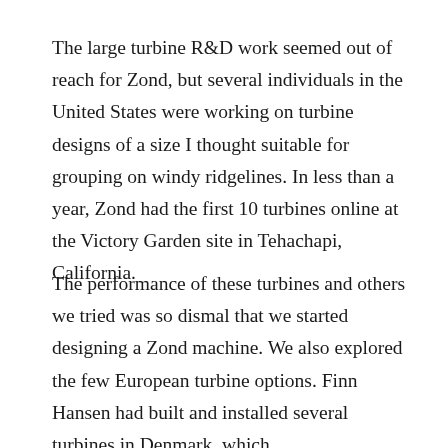The large turbine R&D work seemed out of reach for Zond, but several individuals in the United States were working on turbine designs of a size I thought suitable for grouping on windy ridgelines. In less than a year, Zond had the first 10 turbines online at the Victory Garden site in Tehachapi, California.
The performance of these turbines and others we tried was so dismal that we started designing a Zond machine. We also explored the few European turbine options. Finn Hansen had built and installed several turbines in Denmark, which